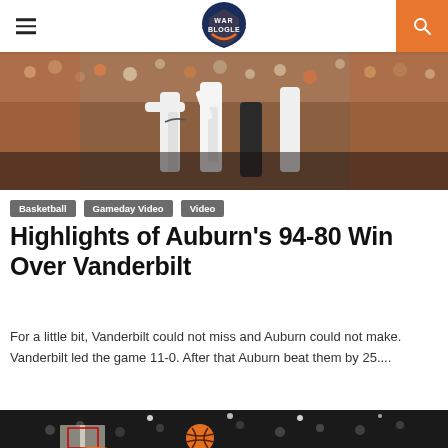War Blogle
[Figure (photo): Basketball game action photo showing players at a game with a crowd in the background]
Basketball
Gameday Video
Video
Highlights of Auburn’s 94-80 Win Over Vanderbilt
For a little bit, Vanderbilt could not miss and Auburn could not make. Vanderbilt led the game 11-0. After that Auburn beat them by 25....
[Figure (photo): Basketball going through a hoop from below, basketball arena with crowd in background, Auburn Athletics signage visible]